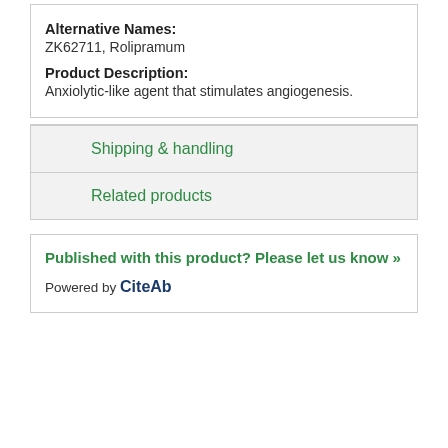Alternative Names:
ZK62711, Rolipramum
Product Description:
Anxiolytic-like agent that stimulates angiogenesis.
Shipping & handling
Related products
Published with this product? Please let us know »
Powered by CiteAb